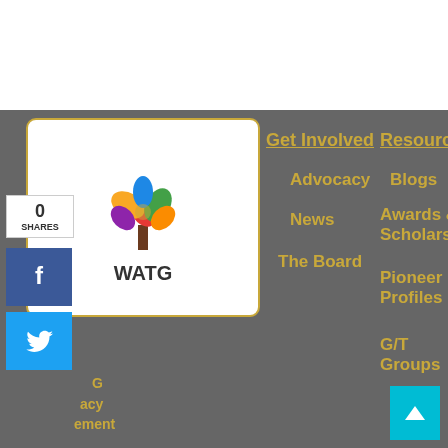[Figure (logo): WATG organization logo with colorful leaf/hand tree and text 'WATG']
0 SHARES
[Figure (logo): Facebook share button]
[Figure (logo): Twitter share button]
Get Involved
Advocacy
News
The Board
Resources
Blogs
Awards & Scholarships
Pioneer Profiles
G/T Groups
Equity
Conference
Contact Us
Keynote Speakers
Logo Contest
Teen Conference
Past Conferences